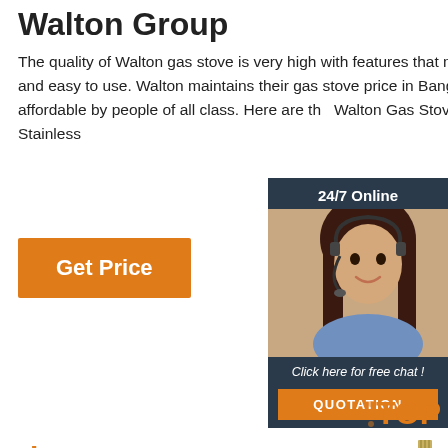Walton Group
The quality of Walton gas stove is very high with features that makes it safe, reliable, and easy to use. Walton maintains their gas stove price in Bangladesh that makes if affordable by people of all class. Here are the Walton Gas Stove in Bangladesh • Stainless
Get Price
[Figure (infographic): 24/7 Online chat widget with woman wearing headset. Includes 'Click here for free chat!' text and orange QUOTATION button.]
[Figure (photo): BEC brand logo with CE certification marks and product photo showing linear encoder/measuring rod products stacked, with a display unit below. TOP badge visible in lower right.]